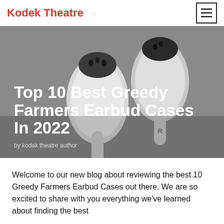Kodek Theatre
[Figure (photo): Close-up photo of white Apple AirPods earbuds on a grey background, showing both earbuds with speaker mesh visible]
Top 10 Best Greedy Farmers Earbud Cases In 2022
by kodak theatre author
Welcome to our new blog about reviewing the best 10 Greedy Farmers Earbud Cases out there. We are so excited to share with you everything we've learned about finding the best